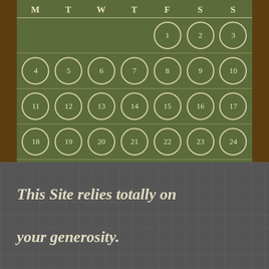[Figure (other): Calendar widget for January showing days 1-31 arranged in a weekly grid (M T W T F S S) with crescent moon circle decorations on each day number. Navigation links: « Dec and Feb ». Background is olive/army green.]
« Dec  Feb »
This Site relies totally on your generosity.